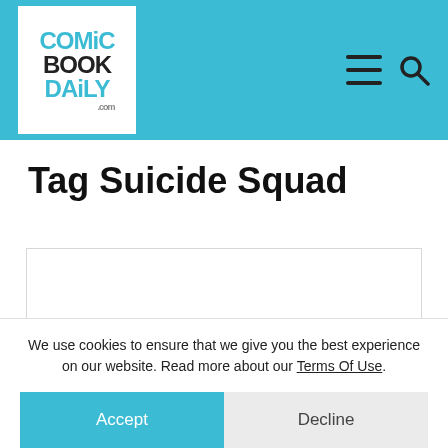Comic Book Daily .com
Tag Suicide Squad
[Figure (other): Empty white content box / article preview area]
We use cookies to ensure that we give you the best experience on our website. Read more about our Terms Of Use.
Accept | Decline